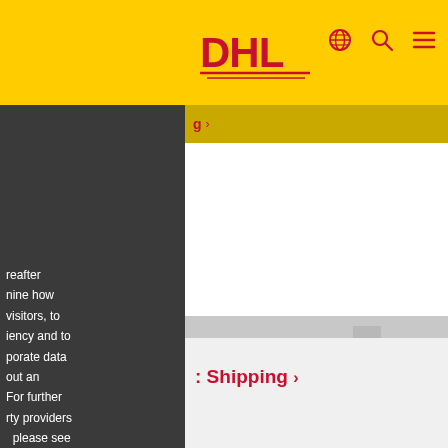[Figure (screenshot): DHL website screenshot showing navigation header with yellow DHL logo bar, globe icon, search icon, and hamburger menu icon in dark red/crimson color on yellow background]
reafter
nine how
visitors, to
iency and to
porate data
out an
For further
rty providers
please see
[Figure (photo): DHL delivery scene: yellow DHL truck parked on a waterfront area with a city skyline of tall modern buildings in the background. A DHL delivery person in yellow shirt and dark pants is walking toward the truck.]
Shipping >